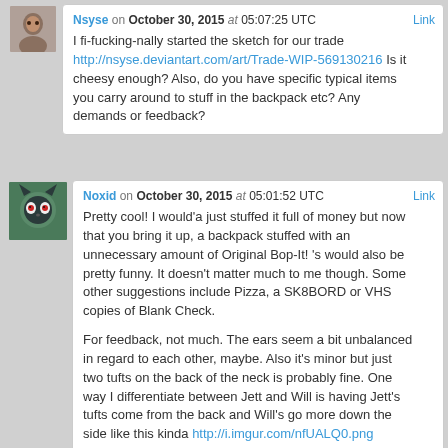Nsyse on October 30, 2015 at 05:07:25 UTC — Link
I fi-fucking-nally started the sketch for our trade http://nsyse.deviantart.com/art/Trade-WIP-569130216 Is it cheesy enough? Also, do you have specific typical items you carry around to stuff in the backpack etc? Any demands or feedback?
Noxid on October 30, 2015 at 05:01:52 UTC — Link
Pretty cool! I would'a just stuffed it full of money but now that you bring it up, a backpack stuffed with an unnecessary amount of Original Bop-It! 's would also be pretty funny. It doesn't matter much to me though. Some other suggestions include Pizza, a SK8BORD or VHS copies of Blank Check.

For feedback, not much. The ears seem a bit unbalanced in regard to each other, maybe. Also it's minor but just two tufts on the back of the neck is probably fine. One way I differentiate between Jett and Will is having Jett's tufts come from the back and Will's go more down the side like this kinda http://i.imgur.com/nfUALQ0.png
It's not something I would fuss over but since it's an easy change at this stage I thought I'd mention it :3